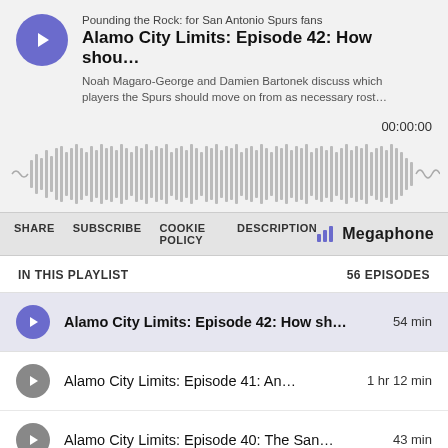Pounding the Rock: for San Antonio Spurs fans
Alamo City Limits: Episode 42: How shou…
Noah Magaro-George and Damien Bartonek discuss which players the Spurs should move on from as necessary rost…
00:00:00
[Figure (other): Audio waveform visualization showing podcast audio amplitude over time, displayed as vertical bars in gray.]
SHARE  SUBSCRIBE  COOKIE POLICY  DESCRIPTION  Megaphone
IN THIS PLAYLIST
56 EPISODES
Alamo City Limits: Episode 42: How sh…  54 min
Alamo City Limits: Episode 41: An…  1 hr 12 min
Alamo City Limits: Episode 40: The San…  43 min
Alamo City Limits: Episode 39: The …  1 hr 2 min
Alamo City Limits: Episode 38: Pou…  1 hr 16 min